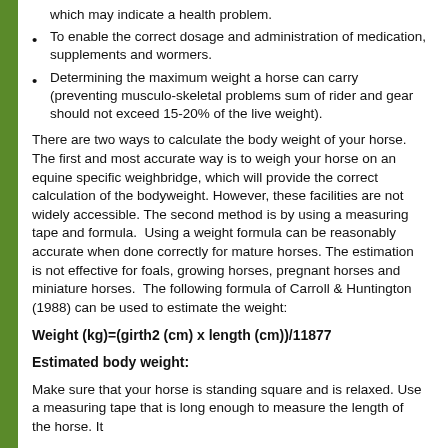which may indicate a health problem.
To enable the correct dosage and administration of medication, supplements and wormers.
Determining the maximum weight a horse can carry (preventing musculo-skeletal problems sum of rider and gear should not exceed 15-20% of the live weight).
There are two ways to calculate the body weight of your horse. The first and most accurate way is to weigh your horse on an equine specific weighbridge, which will provide the correct calculation of the bodyweight. However, these facilities are not widely accessible. The second method is by using a measuring tape and formula.  Using a weight formula can be reasonably accurate when done correctly for mature horses. The estimation is not effective for foals, growing horses, pregnant horses and miniature horses.  The following formula of Carroll & Huntington (1988) can be used to estimate the weight:
Estimated body weight:
Make sure that your horse is standing square and is relaxed. Use a measuring tape that is long enough to measure the length of the horse. It